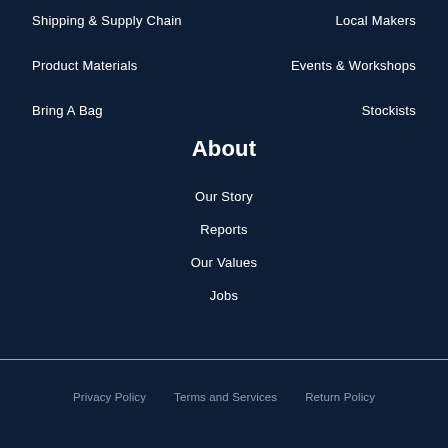Shipping & Supply Chain
Local Makers
Product Materials
Events & Workshops
Bring A Bag
Stockists
About
Our Story
Reports
Our Values
Jobs
Privacy Policy   Terms and Services   Return Policy